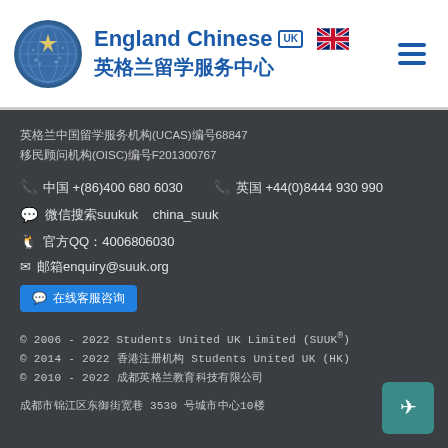[Figure (logo): Globe/world logo circle with blue tones and star pattern]
England Chinese UK 英格兰留学服务中心
英格兰中国留学服务机构(UCAS)编号68847
移民顾问机构(OISC)编号F201300767
☎ 中国 +(86)400 680 6030   ☎ 英国 +44(0)8444 930 990
微信 搜索suukuk   china_suuk
企鹅 官方QQ：4006806030
✉ 邮箱enquiry@suuk.org
在线客服咨询
© 2006 - 2022 Students United UK Limited (SUUK®)
© 2014 - 2022 香港注册机构 Students United UK (HK)
© 2010 - 2022 成都英格兰教育科技有限公司
成都市锦江区东御街宽巷 3530 号城市中心10楼